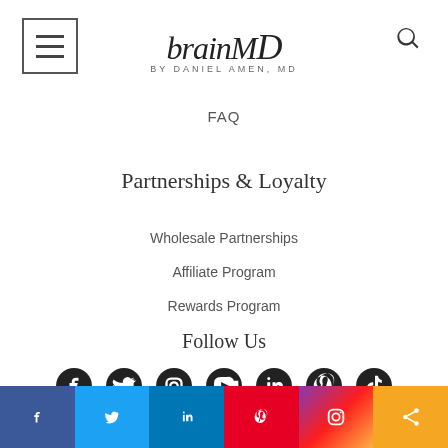[Figure (logo): BrainMD by Daniel Amen, MD logo with hamburger menu and search icon]
FAQ
Partnerships & Loyalty
Wholesale Partnerships
Affiliate Program
Rewards Program
Follow Us
[Figure (infographic): Social media icons: Facebook, Twitter, Instagram, YouTube, LinkedIn, Pinterest, TikTok]
[Figure (infographic): Bottom social sharing bar with Facebook, Twitter, LinkedIn, Pinterest, Instagram, Share icons]